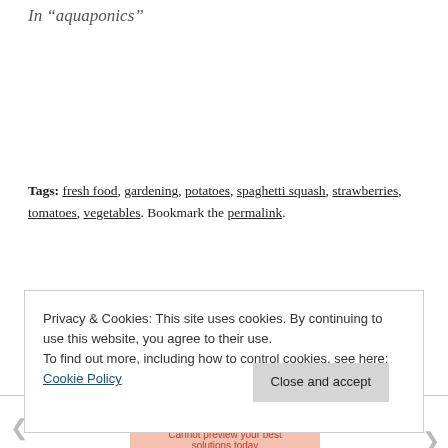In "aquaponics"
Tags: fresh food, gardening, potatoes, spaghetti squash, strawberries, tomatoes, vegetables. Bookmark the permalink.
Previous post
A review of the tenancy agreement
Next post
And the sad news is
Privacy & Cookies: This site uses cookies. By continuing to use this website, you agree to their use.
To find out more, including how to control cookies, see here: Cookie Policy
Close and accept